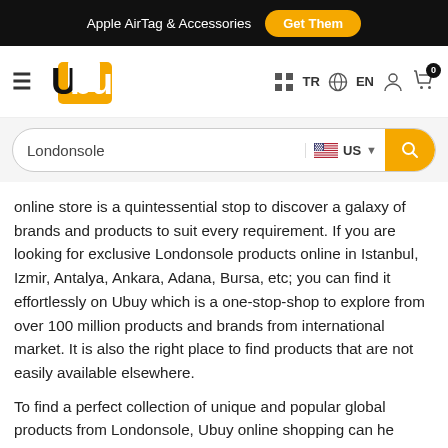Apple AirTag & Accessories  Get Them
[Figure (logo): Ubuy logo with hamburger menu, language selectors (TR, EN), user icon, and cart icon with badge 0]
Londonsole  US
online store is a quintessential stop to discover a galaxy of brands and products to suit every requirement. If you are looking for exclusive Londonsole products online in Istanbul, Izmir, Antalya, Ankara, Adana, Bursa, etc; you can find it effortlessly on Ubuy which is a one-stop-shop to explore from over 100 million products and brands from international market. It is also the right place to find products that are not easily available elsewhere.
To find a perfect collection of unique and popular global products from Londonsole, Ubuy online shopping can help you to get the right product that suits your specific requirements. You can discover the latest offers on Londonsole products and save money each time you decide to purchase. Searching for your preferred products and brands across towns and cities may not be necessary for this